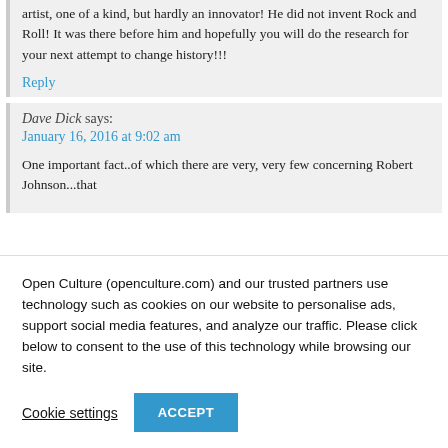artist, one of a kind, but hardly an innovator! He did not invent Rock and Roll! It was there before him and hopefully you will do the research for your next attempt to change history!!!
Reply
Dave Dick says:
January 16, 2016 at 9:02 am
One important fact..of which there are very, very few concerning Robert Johnson...that
Open Culture (openculture.com) and our trusted partners use technology such as cookies on our website to personalise ads, support social media features, and analyze our traffic. Please click below to consent to the use of this technology while browsing our site.
Cookie settings
ACCEPT